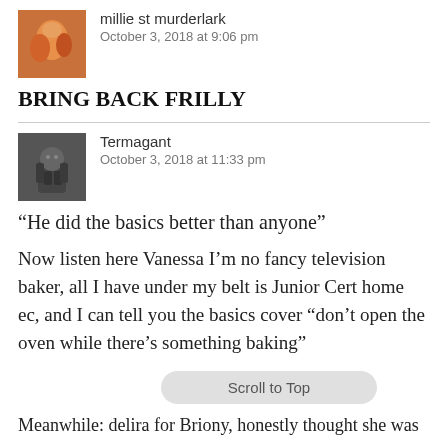millie st murderlark
October 3, 2018 at 9:06 pm
BRING BACK FRILLY
Termagant
October 3, 2018 at 11:33 pm
“He did the basics better than anyone”
Now listen here Vanessa I’m no fancy television baker, all I have under my belt is Junior Cert home ec, and I can tell you the basics cover “don’t open the oven while there’s something baking”
Scroll to Top
Meanwhile: delira for Briony, honestly thought she was